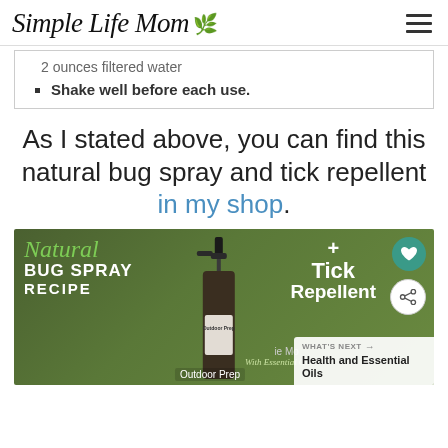Simple Life Mom
2 ounces filtered water
Shake well before each use.
As I stated above, you can find this natural bug spray and tick repellent in my shop.
[Figure (photo): Product image showing 'Natural Bug Spray Recipe + Tick Repellent With Essential Oils' promotional graphic with a spray bottle labeled 'Outdoor Prep' against a green background]